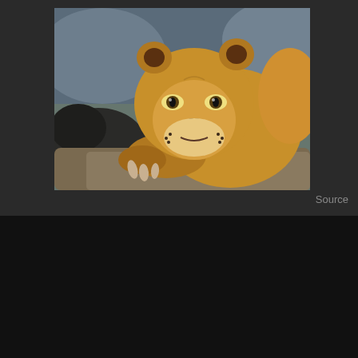[Figure (photo): Close-up photograph of a lioness resting her head on a surface, looking directly at the camera with intense eyes. The image has a shallow depth of field with a blurred background.]
Source
We use cookies on our website to give you the most relevant experience by remembering your preferences and repeat visits. By clicking “Accept”, you consent to the use of ALL the cookies.
Cookie settings   ACCEPT